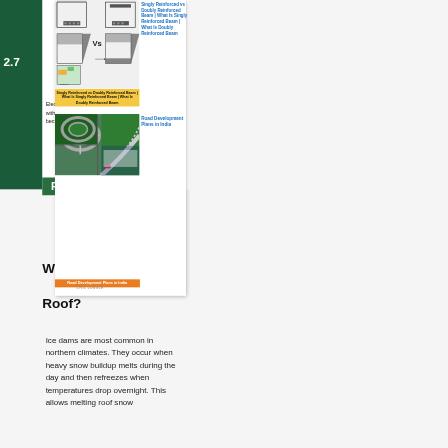2.7
Elec with bec
[Figure (engineering-diagram): Singly Reinforced vs Doubly Reinforced Beam diagram with structural cross-sections and a 'Vs' comparison label, with a jungle/civil engineering watermark]
Singly Reinforced vs Doubly Reinforced Beam | What Is Singly Reinforced Beam | What Is Doubly Reinforced Beam
Singly Reinforced vs Doubly Reinforced Beam | What Is Singly Reinforced Beam | What Is Doubly Reinforced Beam
[Figure (photo): Aerial photograph collage of road interchanges and highways in India]
Road Development Plans in India
Road Development Plans in India
Roof?
Ice dams are most common in northern climates. They occur when heavy snow buildup melts during the day and then refreezes when temperatures drop overnight. This allows melting roof snow